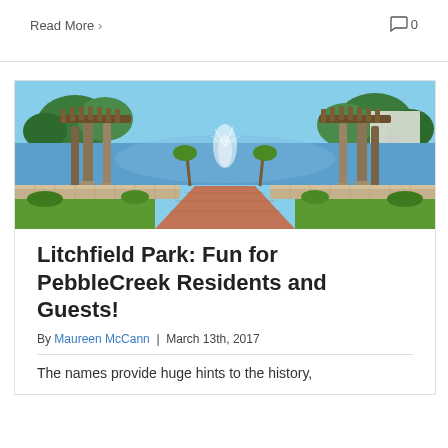Read More >
0
[Figure (photo): Outdoor park scene with a fountain in a lake, decorative wooden pergola archways, stone columns, brick walkway, green lawn, and trees under a blue sky — Litchfield Park, Arizona]
Litchfield Park: Fun for PebbleCreek Residents and Guests!
By Maureen McCann | March 13th, 2017
The names provide huge hints to the history,